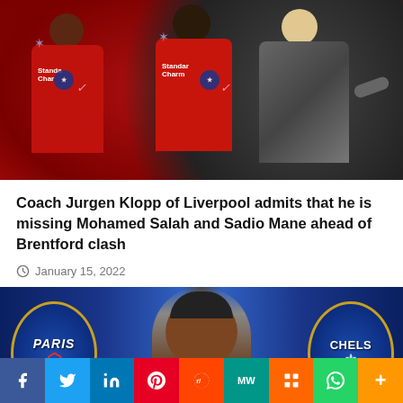[Figure (photo): Photo of Liverpool players Mohamed Salah and Sadio Mane in red kits alongside coach Jurgen Klopp in a grey tracksuit, gesturing with his hand.]
Coach Jurgen Klopp of Liverpool admits that he is missing Mohamed Salah and Sadio Mane ahead of Brentford clash
January 15, 2022
[Figure (photo): Photo of a footballer (Neymar) with PSG logo on the left and Chelsea FC logo on the right, set against a blue background.]
f  Twitter  in  Pinterest  Reddit  MW  Mix  WhatsApp  More